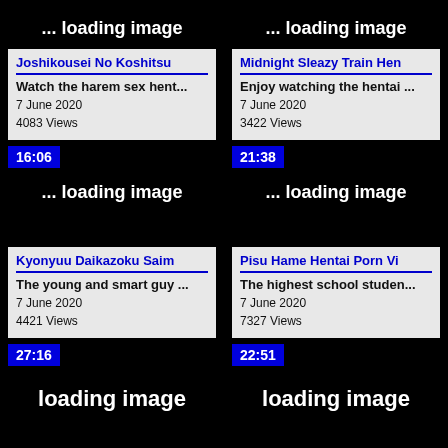... loading image
... loading image
Joshikousei No Koshitsu — Watch the harem sex hent... — 7 June 2020 — 4083 Views — 16:06
Midnight Sleazy Train Hen — Enjoy watching the hentai ... — 7 June 2020 — 3422 Views — 21:38
... loading image
... loading image
Kyonyuu Daikazoku Saim — The young and smart guy ... — 7 June 2020 — 4421 Views — 27:16
Pisu Hame Hentai Porn Vi — The highest school studen... — 7 June 2020 — 7327 Views — 22:51
loading image
loading image